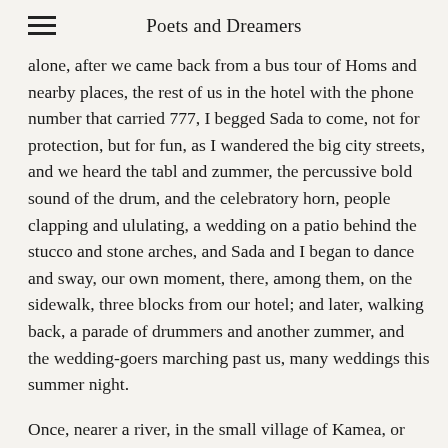Poets and Dreamers
alone, after we came back from a bus tour of Homs and nearby places, the rest of us in the hotel with the phone number that carried 777, I begged Sada to come, not for protection, but for fun, as I wandered the big city streets, and we heard the tabl and zummer, the percussive bold sound of the drum, and the celebratory horn, people clapping and ululating, a wedding on a patio behind the stucco and stone arches, and Sada and I began to dance and sway, our own moment, there, among them, on the sidewalk, three blocks from our hotel; and later, walking back, a parade of drummers and another zummer, and the wedding-goers marching past us, many weddings this summer night.
Once, nearer a river, in the small village of Kamea, or was it Kafroun, Bryan and I heard the same festive sounds, as hundreds of people we found, after our